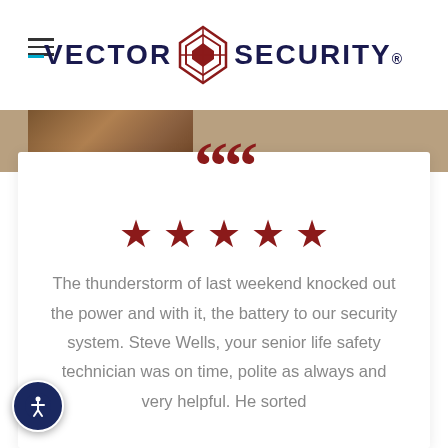Vector Security
[Figure (photo): Partial image of a wooden surface or background, cropped at top]
““ (large decorative opening quotation marks in dark red)
★ ★ ★ ★ ★ (five red stars, 5-star rating)
The thunderstorm of last weekend knocked out the power and with it, the battery to our security system. Steve Wells, your senior life safety technician was on time, polite as always and very helpful. He sorted